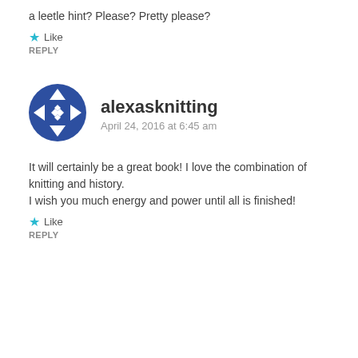a leetle hint? Please? Pretty please?
★ Like
REPLY
alexasknitting
April 24, 2016 at 6:45 am
It will certainly be a great book! I love the combination of knitting and history.
I wish you much energy and power until all is finished!
★ Like
REPLY